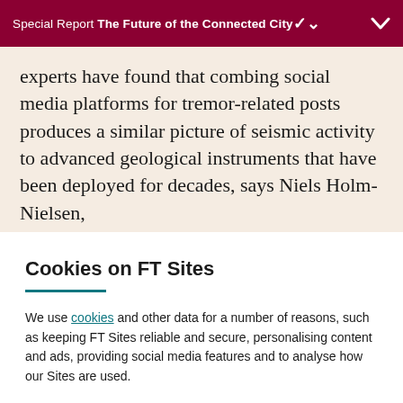Special Report The Future of the Connected City
experts have found that combing social media platforms for tremor-related posts produces a similar picture of seismic activity to advanced geological instruments that have been deployed for decades, says Niels Holm-Nielsen,
Cookies on FT Sites
We use cookies and other data for a number of reasons, such as keeping FT Sites reliable and secure, personalising content and ads, providing social media features and to analyse how our Sites are used.
Manage cookies
Accept & continue